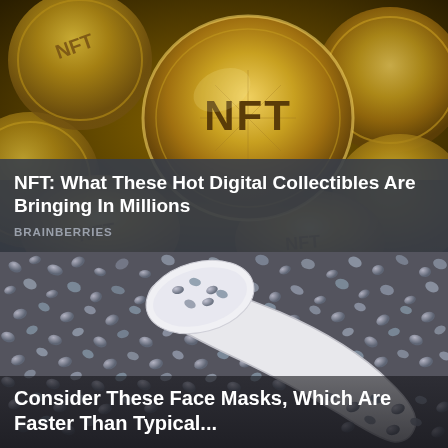[Figure (photo): Pile of golden NFT coins with circuit board patterns, with one large coin prominently showing 'NFT' text in the center]
NFT: What These Hot Digital Collectibles Are Bringing In Millions
BRAINBERRIES
[Figure (photo): Close-up macro photograph of grey chia seeds or caviar pearls with a white ceramic spoon scooping them]
Consider These Face Masks, Which Are Faster Than Typical...